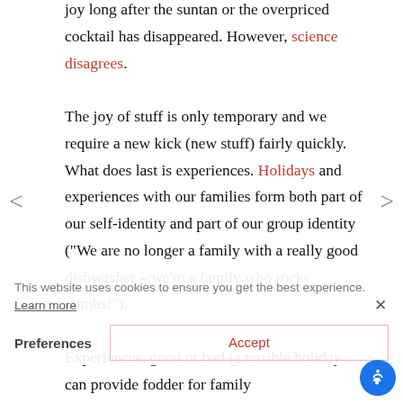joy long after the suntan or the overpriced cocktail has disappeared. However, science disagrees.

The joy of stuff is only temporary and we require a new kick (new stuff) fairly quickly. What does last is experiences. Holidays and experiences with our families form both part of our self-identity and part of our group identity ("We are no longer a family with a really good dishwasher – we're a family who rock-climbs!").

Experiences, good or bad (a terrible holiday can provide fodder for family
This website uses cookies to ensure you get the best experience. Learn more
Preferences    Accept